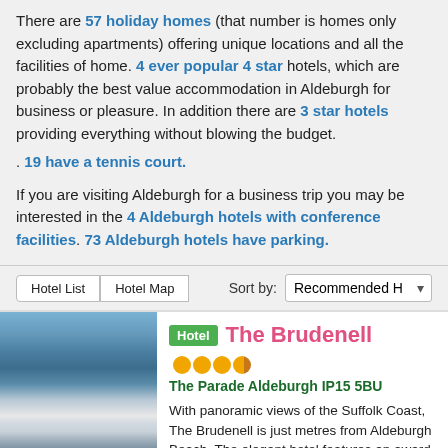There are 57 holiday homes (that number is homes only excluding apartments) offering unique locations and all the facilities of home. 4 ever popular 4 star hotels, which are probably the best value accommodation in Aldeburgh for business or pleasure. In addition there are 3 star hotels providing everything without blowing the budget. . 19 have a tennis court.
If you are visiting Aldeburgh for a business trip you may be interested in the 4 Aldeburgh hotels with conference facilities. 73 Aldeburgh hotels have parking.
Hotel List   Hotel Map       Sort by: Recommended H
[Figure (photo): Photo of The Brudenell hotel building, a white multi-storey Victorian building near the beach with cloudy sky.]
Hotel   The Brudenell   ●●●◐   The Parade Aldeburgh IP15 5BU   With panoramic views of the Suffolk Coast, The Brudenell is just metres from Aldeburgh Beach. The elegant hotel features an award-winning restaurant and seafront terrace.The 4-star bedrooms each have...more   Book now pay later!